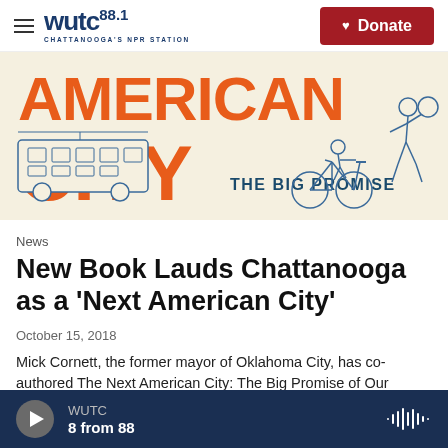WUTC 88.1 CHATTANOOGA'S NPR STATION | Donate
[Figure (illustration): Book cover image for 'The Next American City: The Big Promise of Our Midsize Metros' showing text 'AMERICAN CITY THE BIG PROMISE' in orange letters with sketched illustrations of a bus/tram, a cyclist, and a basketball player on a cream/beige background.]
News
New Book Lauds Chattanooga as a 'Next American City'
October 15, 2018
Mick Cornett, the former mayor of Oklahoma City, has co-authored The Next American City: The Big Promise of Our Midsize Metros. It features success
WUTC  8 from 88